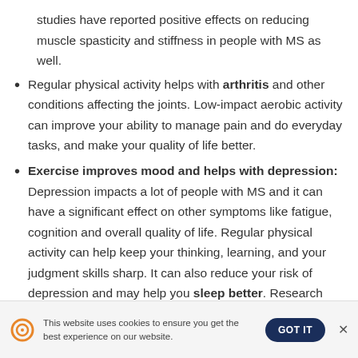studies have reported positive effects on reducing muscle spasticity and stiffness in people with MS as well.
Regular physical activity helps with arthritis and other conditions affecting the joints. Low-impact aerobic activity can improve your ability to manage pain and do everyday tasks, and make your quality of life better.
Exercise improves mood and helps with depression: Depression impacts a lot of people with MS and it can have a significant effect on other symptoms like fatigue, cognition and overall quality of life. Regular physical activity can help keep your thinking, learning, and your judgment skills sharp. It can also reduce your risk of depression and may help you sleep better. Research has
This website uses cookies to ensure you get the best experience on our website.